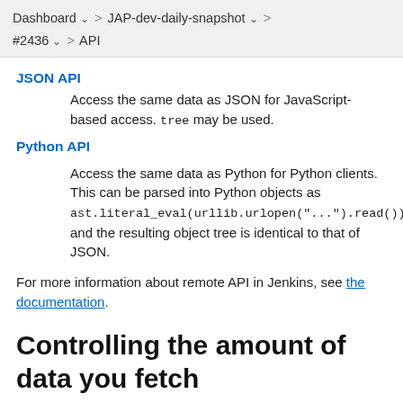Dashboard > JAP-dev-daily-snapshot > #2436 > API
JSON API
Access the same data as JSON for JavaScript-based access. tree may be used.
Python API
Access the same data as Python for Python clients. This can be parsed into Python objects as ast.literal_eval(urllib.urlopen("...").read()) and the resulting object tree is identical to that of JSON.
For more information about remote API in Jenkins, see the documentation.
Controlling the amount of data you fetch